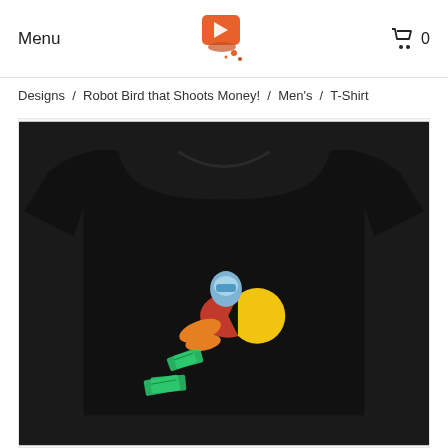Menu
Designs / Robot Bird that Shoots Money! / Men's / T-Shirt
[Figure (photo): Black t-shirt with robot bird design that shoots money, displayed on white background]